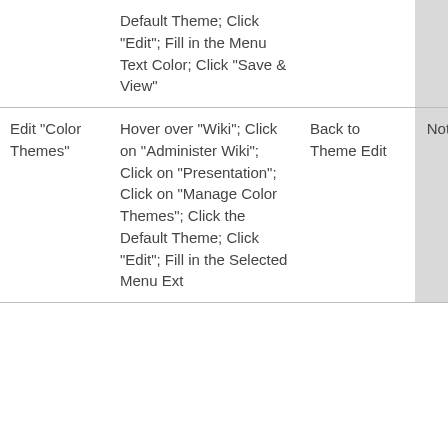|  | Default Theme; Click "Edit"; Fill in the Menu Text Color; Click "Save & View" |  |  |  |
| Edit "Color Themes" | Hover over "Wiki"; Click on "Administer Wiki"; Click on "Presentation"; Click on "Manage Color Themes"; Click the Default Theme; Click "Edit"; Fill in the Selected Menu Ext... | Back to Theme Edit | Not Tested | - |